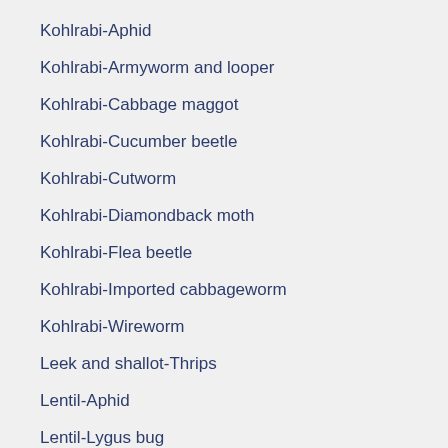Kohlrabi-Aphid
Kohlrabi-Armyworm and looper
Kohlrabi-Cabbage maggot
Kohlrabi-Cucumber beetle
Kohlrabi-Cutworm
Kohlrabi-Diamondback moth
Kohlrabi-Flea beetle
Kohlrabi-Imported cabbageworm
Kohlrabi-Wireworm
Leek and shallot-Thrips
Lentil-Aphid
Lentil-Lygus bug
Lentil-Seedcorn maggot